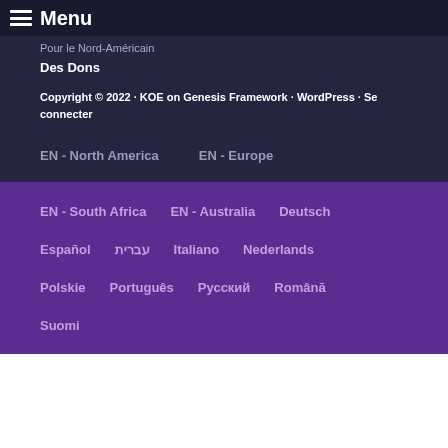Menu
Pour le Nord-Américain
Des Dons
Copyright © 2022 · KOE on Genesis Framework · WordPress · Se connecter
EN - North America
EN - Europe
EN - South Africa
EN - Australia
Deutsch
Español
עברית
Italiano
Nederlands
Polskie
Português
Русский
Română
Suomi